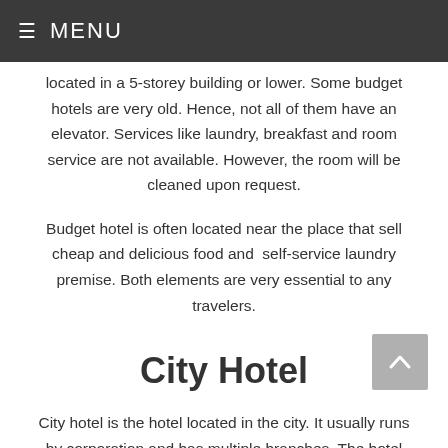≡ MENU
located in a 5-storey building or lower. Some budget hotels are very old. Hence, not all of them have an elevator. Services like laundry, breakfast and room service are not available. However, the room will be cleaned upon request.
Budget hotel is often located near the place that sell cheap and delicious food and  self-service laundry premise. Both elements are very essential to any travelers.
City Hotel
City hotel is the hotel located in the city. It usually runs by corporation and has multiple branches. The hotel offers